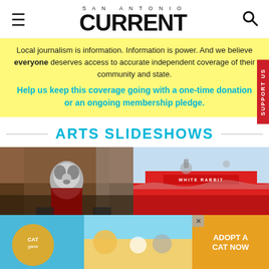SAN ANTONIO CURRENT
Local journalism is information. Information is power. And we believe everyone deserves access to accurate independent coverage of their community and state.
Help us keep this coverage going with a one-time donation or an ongoing membership pledge.
ARTS SLIDESHOWS
[Figure (photo): Person in furry wolf costume at a comic/game store event]
[Figure (photo): Exterior of White Rabbit venue with sign and cloudy sky]
[Figure (photo): Advertisement banner: Cat game adopt a cat now]